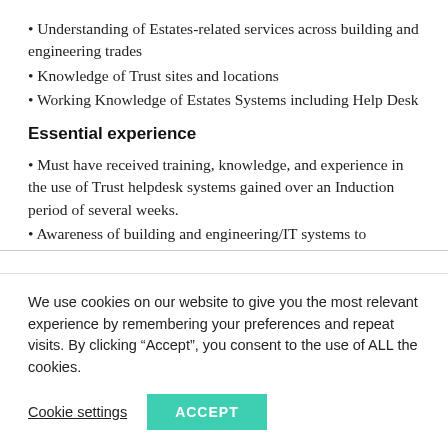Understanding of Estates-related services across building and engineering trades
Knowledge of Trust sites and locations
Working Knowledge of Estates Systems including Help Desk
Essential experience
Must have received training, knowledge, and experience in the use of Trust helpdesk systems gained over an Induction period of several weeks.
Awareness of building and engineering/IT systems to
We use cookies on our website to give you the most relevant experience by remembering your preferences and repeat visits. By clicking “Accept”, you consent to the use of ALL the cookies.
Cookie settings   ACCEPT